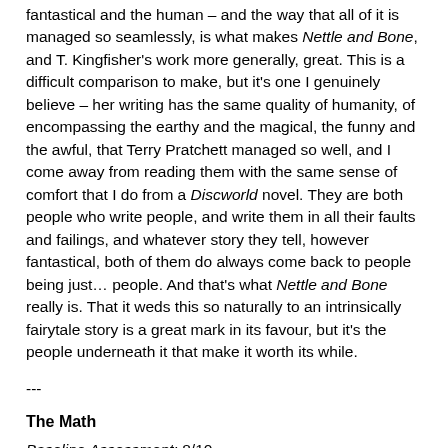fantastical and the human – and the way that all of it is managed so seamlessly, is what makes Nettle and Bone, and T. Kingfisher's work more generally, great. This is a difficult comparison to make, but it's one I genuinely believe – her writing has the same quality of humanity, of encompassing the earthy and the magical, the funny and the awful, that Terry Pratchett managed so well, and I come away from reading them with the same sense of comfort that I do from a Discworld novel. They are both people who write people, and write them in all their faults and failings, and whatever story they tell, however fantastical, both of them do always come back to people being just… people. And that's what Nettle and Bone really is. That it weds this so naturally to an intrinsically fairytale story is a great mark in its favour, but it's the people underneath it that make it worth its while.
---
The Math
Baseline Assessment: 8/10
Bonuses: + 1 for once again making a Dragon Age reference